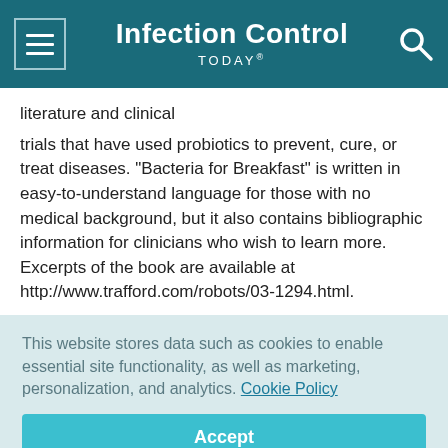Infection Control TODAY®
literature and clinical

trials that have used probiotics to prevent, cure, or treat diseases. "Bacteria for Breakfast" is written in easy-to-understand language for those with no medical background, but it also contains bibliographic information for clinicians who wish to learn more. Excerpts of the book are available at http://www.trafford.com/robots/03-1294.html.
This website stores data such as cookies to enable essential site functionality, as well as marketing, personalization, and analytics. Cookie Policy
Accept
Deny